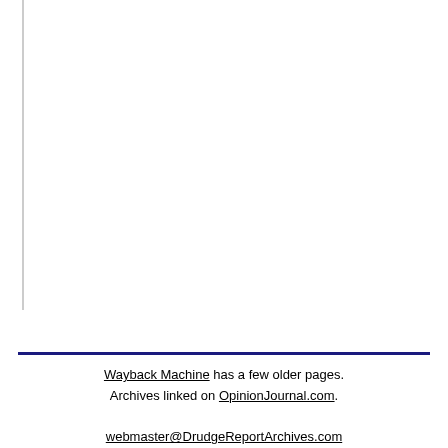Wayback Machine has a few older pages. Archives linked on OpinionJournal.com.

webmaster@DrudgeReportArchives.com
Top